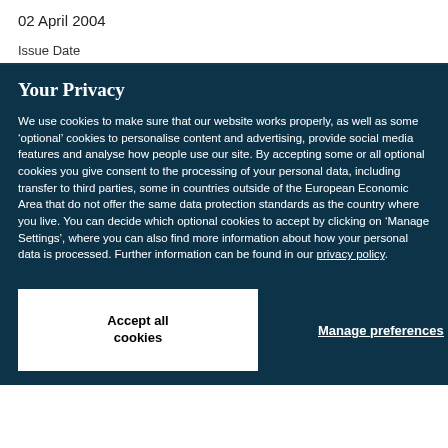02 April 2004
Issue Date
Your Privacy
We use cookies to make sure that our website works properly, as well as some ‘optional’ cookies to personalise content and advertising, provide social media features and analyse how people use our site. By accepting some or all optional cookies you give consent to the processing of your personal data, including transfer to third parties, some in countries outside of the European Economic Area that do not offer the same data protection standards as the country where you live. You can decide which optional cookies to accept by clicking on ‘Manage Settings’, where you can also find more information about how your personal data is processed. Further information can be found in our privacy policy.
Accept all cookies
Manage preferences